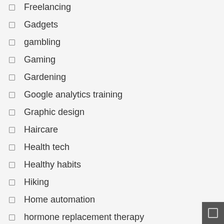Freelancing
Gadgets
gambling
Gaming
Gardening
Google analytics training
Graphic design
Haircare
Health tech
Healthy habits
Hiking
Home automation
hormone replacement therapy